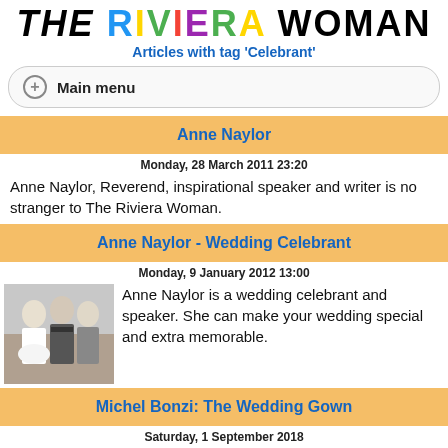THE RIVIERA WOMAN
Articles with tag 'Celebrant'
Main menu
Anne Naylor
Monday, 28 March 2011 23:20
Anne Naylor, Reverend, inspirational speaker and writer is no stranger to The Riviera Woman.
Anne Naylor - Wedding Celebrant
Monday, 9 January 2012 13:00
[Figure (photo): Wedding photo of couple with celebrant]
Anne Naylor is a wedding celebrant and speaker. She can make your wedding special and extra memorable.
Michel Bonzi: The Wedding Gown
Saturday, 1 September 2018